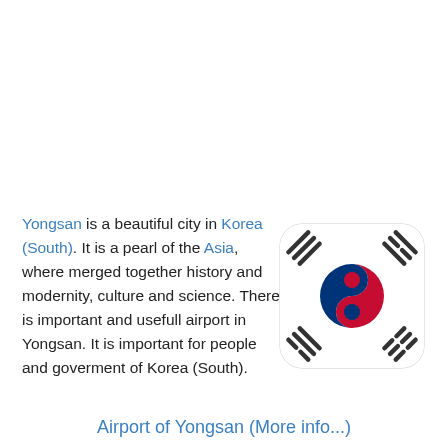Yongsan is a beautiful city in Korea (South). It is a pearl of the Asia, where merged together history and modernity, culture and science. There is important and usefull airport in Yongsan. It is important for people and goverment of Korea (South).
[Figure (illustration): South Korean flag icon with rounded corners, showing the Taegukgi: white background with the red and blue taeguk symbol in the center and four black trigrams in the corners.]
Airport of Yongsan (More info...)